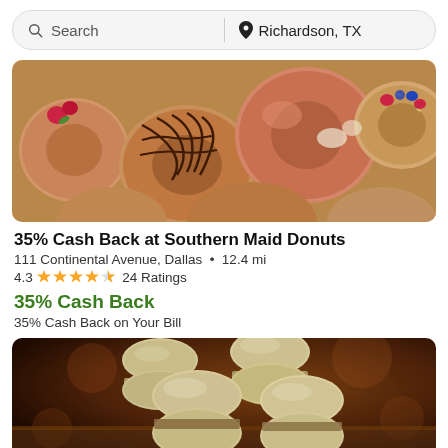Search | Richardson, TX
[Figure (photo): Overhead view of assorted donuts including a glazed donut, chocolate drizzled donut, sprinkle-topped donut, fruit-topped donuts with berries]
35% Cash Back at Southern Maid Donuts
111 Continental Avenue, Dallas • 12.4 mi
4.3 ★★★★½ 24 Ratings
35% Cash Back
35% Cash Back on Your Bill
[Figure (photo): Close-up photo of several pale green/cream macarons stacked on a wooden surface with warm brown bokeh background]